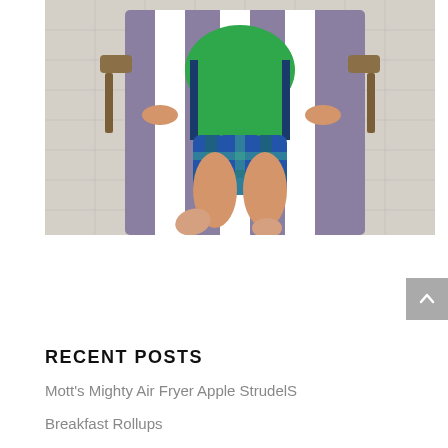[Figure (photo): A young child lying on a purple and white striped lounge chair by a pool, wearing a green rash guard and blue/green plaid swim shorts, arms resting on wooden armrests, bare feet visible in the foreground.]
RECENT POSTS
Mott's Mighty Air Fryer Apple StrudelS
Breakfast Rollups